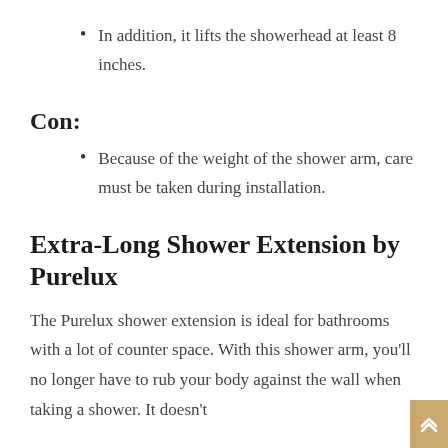In addition, it lifts the showerhead at least 8 inches.
Con:
Because of the weight of the shower arm, care must be taken during installation.
Extra-Long Shower Extension by Purelux
The Purelux shower extension is ideal for bathrooms with a lot of counter space. With this shower arm, you'll no longer have to rub your body against the wall when taking a shower. It doesn't